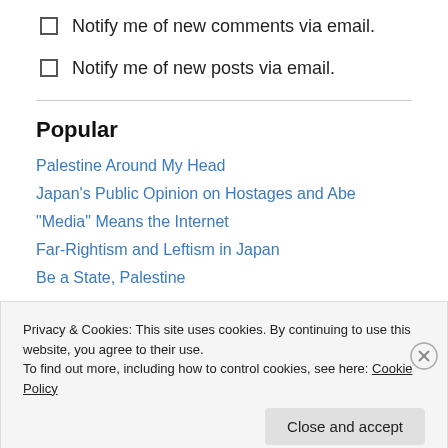Notify me of new comments via email.
Notify me of new posts via email.
Popular
Palestine Around My Head
Japan's Public Opinion on Hostages and Abe
"Media" Means the Internet
Far-Rightism and Leftism in Japan
Be a State, Palestine
Privacy & Cookies: This site uses cookies. By continuing to use this website, you agree to their use. To find out more, including how to control cookies, see here: Cookie Policy
Close and accept